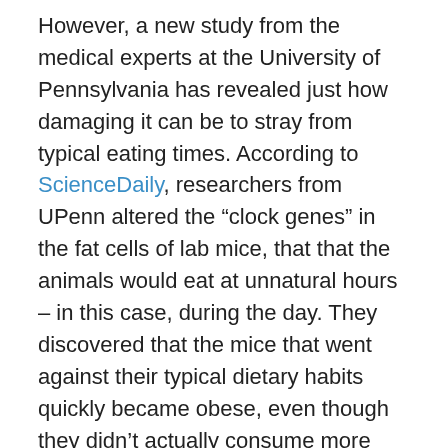However, a new study from the medical experts at the University of Pennsylvania has revealed just how damaging it can be to stray from typical eating times. According to ScienceDaily, researchers from UPenn altered the “clock genes” in the fat cells of lab mice, that that the animals would eat at unnatural hours – in this case, during the day. They discovered that the mice that went against their typical dietary habits quickly became obese, even though they didn’t actually consume more food than mice that ate when they were inherently inclined to.
So, when it comes to figure competition diets and workout regimens, be sure to take advantage of your body’s natural rhythms rather than going against them. Every calorie counts when you’re gearing up for your event, so